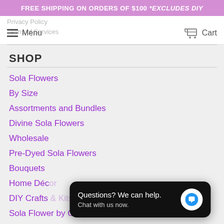FREE SHIPPING ON ORDERS OF $100 *EXCLUDES DIY
Menu | Cart
Privacy Policy
Terms of Services
SHOP
Sola Flowers
By Size
Assortments and Bundles
Divine Sola Flowers
Wholesale
Pre-Dyed Sola Flowers
Bouquets
Home Décor
DIY Crafts
Sola Flower by Case/Box
Questions? We can help.
Chat with us now.